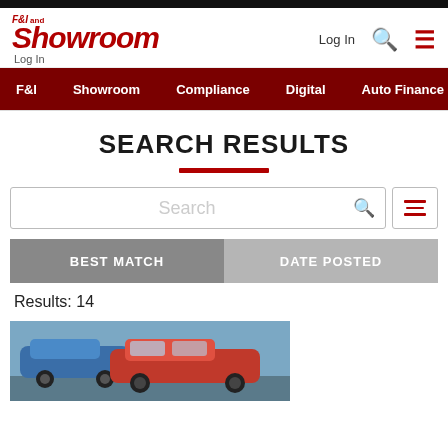F&I and Showroom — Log In | Search | Menu | F&I | Showroom | Compliance | Digital | Auto Finance
SEARCH RESULTS
Results: 14
[Figure (photo): Photo of cars in a lot, showing red and blue cars from the side/front angle]